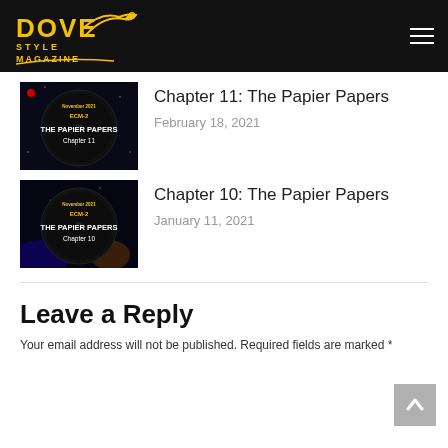DOVE STYLE MAGAZINE
[Figure (screenshot): Thumbnail image for Chapter 11: The Papier Papers — dark circular design with 'THE PAPIER PAPERS Chapter 11' text in gold and white on black background]
Chapter 11: The Papier Papers
February 18, 2021
[Figure (screenshot): Thumbnail image for Chapter 10: The Papier Papers — dark circular design with 'THE PAPIER PAPERS Chapter 10' text in gold and white on black background]
Chapter 10: The Papier Papers
January 11, 2021
Leave a Reply
Your email address will not be published. Required fields are marked *